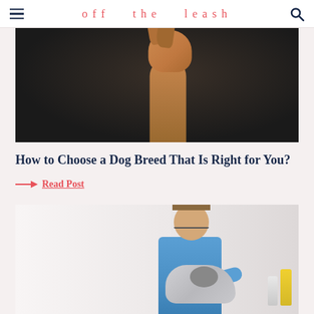off   the   leash
[Figure (photo): A brown/tan dog sitting upright against a dark background, photographed from chest up, head slightly tilted]
How to Choose a Dog Breed That Is Right for You?
→ Read Post
[Figure (photo): A female veterinarian in blue scrubs examining a dog (appears to be an Australian Shepherd or similar breed) on an examination table, with a yellow bottle visible in the background]